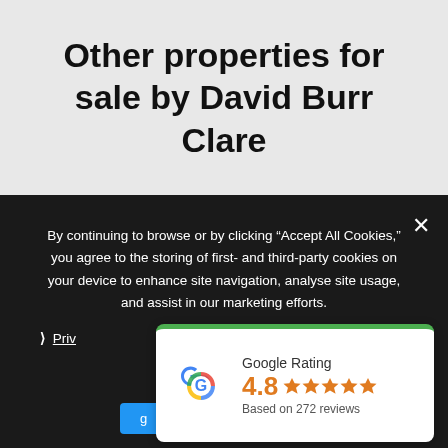Other properties for sale by David Burr Clare
By continuing to browse or by clicking “Accept All Cookies,” you agree to the storing of first- and third-party cookies on your device to enhance site navigation, analyse site usage, and assist in our marketing efforts.
› Privacy
[Figure (other): Google Rating widget showing 4.8 stars based on 272 reviews, with Google 'G' logo and green top border.]